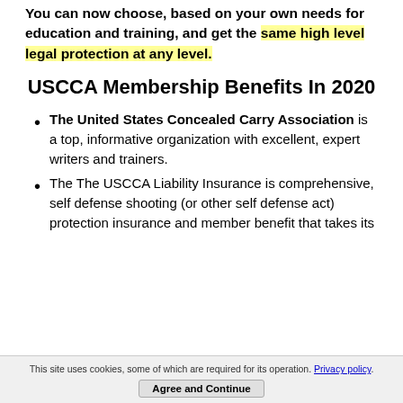You can now choose, based on your own needs for education and training, and get the same high level legal protection at any level.
USCCA Membership Benefits In 2020
The United States Concealed Carry Association is a top, informative organization with excellent, expert writers and trainers.
The The USCCA Liability Insurance is comprehensive, self defense shooting (or other self defense act) protection insurance and member benefit that takes its
This site uses cookies, some of which are required for its operation. Privacy policy. Agree and Continue